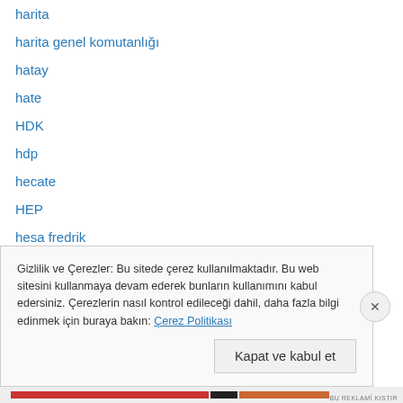harita
harita genel komutanlığı
hatay
hate
HDK
hdp
hecate
HEP
hesa fredrik
himlen
homofobi
homophobi
homophobia
hroot (partial)
Gizlilik ve Çerezler: Bu sitede çerez kullanılmaktadır. Bu web sitesini kullanmaya devam ederek bunların kullanımını kabul edersiniz. Çerezlerin nasıl kontrol edileceği dahil, daha fazla bilgi edinmek için buraya bakın: Çerez Politikası
Kapat ve kabul et